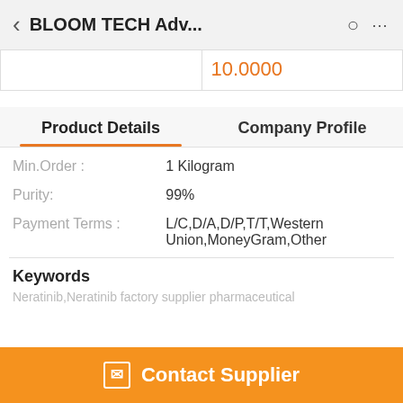BLOOM TECH Adv...
|  | 10.0000 |
| --- | --- |
Product Details    Company Profile
| Label | Value |
| --- | --- |
| Min.Order : | 1 Kilogram |
| Purity: | 99% |
| Payment Terms : | L/C,D/A,D/P,T/T,Western Union,MoneyGram,Other |
Keywords
Neratinib Neratinib factory supplier pharmaceutical
Contact Supplier